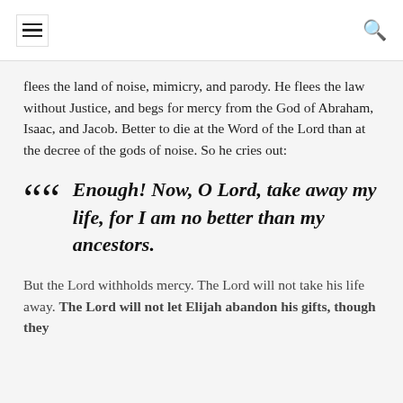[hamburger menu] [search icon]
flees the land of noise, mimicry, and parody. He flees the law without Justice, and begs for mercy from the God of Abraham, Isaac, and Jacob. Better to die at the Word of the Lord than at the decree of the gods of noise. So he cries out:
“Enough! Now, O Lord, take away my life, for I am no better than my ancestors.
But the Lord withholds mercy. The Lord will not take his life away. The Lord will not let Elijah abandon his gifts, though they